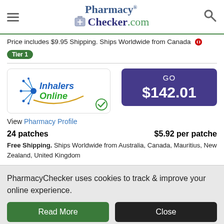PharmacyChecker.com
Price includes $9.95 Shipping. Ships Worldwide from Canada
Tier 1
[Figure (logo): Inhalers Online pharmacy logo with blue and green text and starburst graphic, with green checkmark badge]
GO $142.01
View Pharmacy Profile
24 patches   $5.92 per patche
Free Shipping. Ships Worldwide from Australia, Canada, Mauritius, New Zealand, United Kingdom
PharmacyChecker uses cookies to track & improve your online experience.
Read More
Close